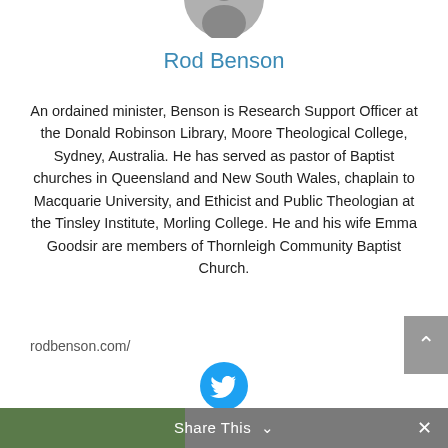[Figure (photo): Partial circular profile photo of Rod Benson, cropped at top of page]
Rod Benson
An ordained minister, Benson is Research Support Officer at the Donald Robinson Library, Moore Theological College, Sydney, Australia. He has served as pastor of Baptist churches in Queensland and New South Wales, chaplain to Macquarie University, and Ethicist and Public Theologian at the Tinsley Institute, Morling College. He and his wife Emma Goodsir are members of Thornleigh Community Baptist Church.
rodbenson.com/
[Figure (logo): Twitter bird icon in a cyan/blue circle]
Tags: Australia, Christian Ethics, Discipleship, Rod Benson
Share This